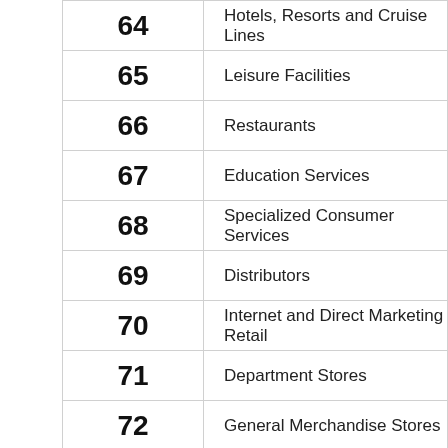| Code | Description |
| --- | --- |
| 64 | Hotels, Resorts and Cruise Lines |
| 65 | Leisure Facilities |
| 66 | Restaurants |
| 67 | Education Services |
| 68 | Specialized Consumer Services |
| 69 | Distributors |
| 70 | Internet and Direct Marketing Retail |
| 71 | Department Stores |
| 72 | General Merchandise Stores |